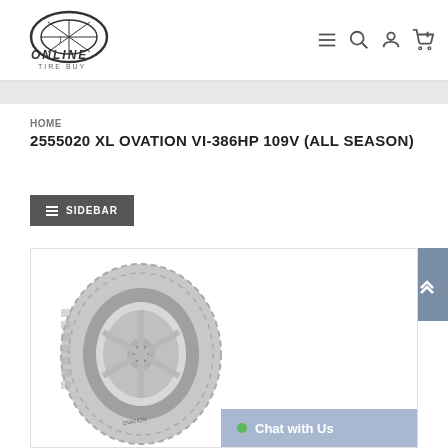Online Tire Buy — Navigation bar with logo, menu, search, account, cart icons
HOME
2555020 XL OVATION VI-386HP 109V (ALL SEASON)
SIDEBAR
[Figure (photo): Product photo of Ovation VI-386HP tire mounted on a silver alloy wheel, shown at an angle on a white background inside a bordered product card.]
Chat with Us